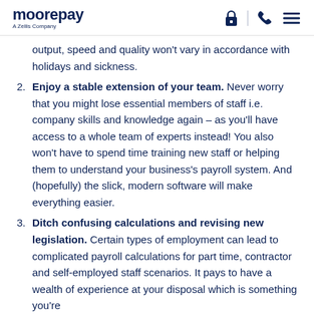moorepay A Zellis Company
output, speed and quality won't vary in accordance with holidays and sickness.
2. Enjoy a stable extension of your team. Never worry that you might lose essential members of staff i.e. company skills and knowledge again – as you'll have access to a whole team of experts instead! You also won't have to spend time training new staff or helping them to understand your business's payroll system. And (hopefully) the slick, modern software will make everything easier.
3. Ditch confusing calculations and revising new legislation. Certain types of employment can lead to complicated payroll calculations for part time, contractor and self-employed staff scenarios. It pays to have a wealth of experience at your disposal which is something you're